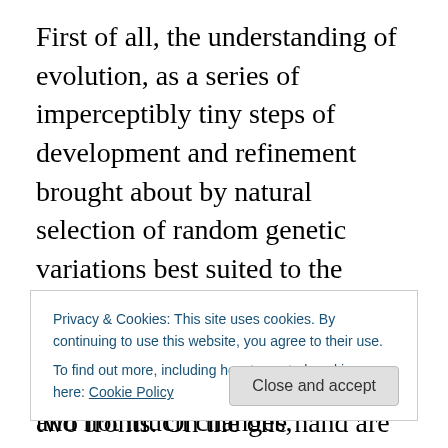First of all, the understanding of evolution, as a series of imperceptibly tiny steps of development and refinement brought about by natural selection of random genetic variations best suited to the environment, has in recent years  by lack of evidence to back it up, faced criticism on at least two fronts. On the one hand are those who prefer or retain belief in a divine creator, an argument that ulitmately always produces a tautology. On the other, a (scientific) curiosity that dares challenge the dogma of Darwinism and neo-Darwinism. An example of the latter would be 'Punctuated Equilibrium', which (roughly
Privacy & Cookies: This site uses cookies. By continuing to use this website, you agree to their use.
To find out more, including how to control cookies, see here: Cookie Policy
periods where not much happens and not much changes,